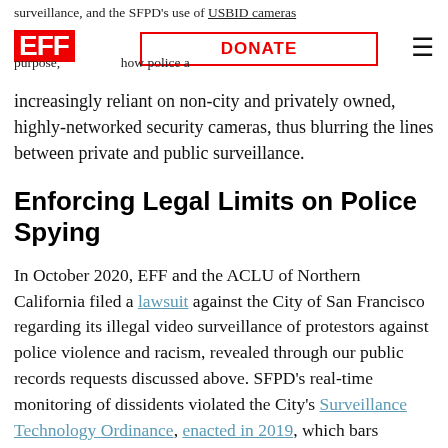surveillance, and the SFPD's use of USBID cameras [purpose, ...] how police are increasingly reliant on non-city and privately owned, highly-networked security cameras, thus blurring the lines between private and public surveillance.
Enforcing Legal Limits on Police Spying
In October 2020, EFF and the ACLU of Northern California filed a lawsuit against the City of San Francisco regarding its illegal video surveillance of protestors against police violence and racism, revealed through our public records requests discussed above. SFPD's real-time monitoring of dissidents violated the City's Surveillance Technology Ordinance, enacted in 2019, which bars